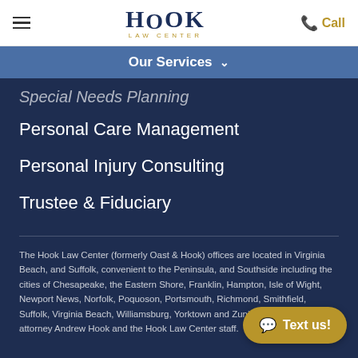Hook Law Center — Call
Our Services
Special Needs Planning
Personal Care Management
Personal Injury Consulting
Trustee & Fiduciary
The Hook Law Center (formerly Oast & Hook) offices are located in Virginia Beach, and Suffolk, convenient to the Peninsula, and Southside including the cities of Chesapeake, the Eastern Shore, Franklin, Hampton, Isle of Wight, Newport News, Norfolk, Poquoson, Portsmouth, Richmond, Smithfield, Suffolk, Virginia Beach, Williamsburg, Yorktown and Zuni. Content by elder law attorney Andrew Hook and the Hook Law Center staff.